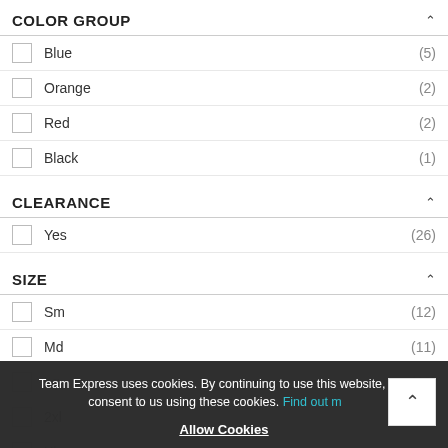COLOR GROUP
Blue (5)
Orange (2)
Red (2)
Black (1)
CLEARANCE
Yes (26)
SIZE
Sm (12)
Md (11)
Lg (10)
2xl
Xl
PRICE
Team Express uses cookies. By continuing to use this website, you consent to us using these cookies. Find out more Allow Cookies